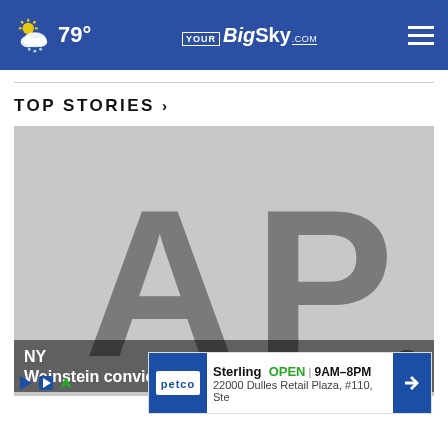79° YourBigSky.com
TOP STORIES ›
[Figure (photo): AP News logo placeholder image — large grey 'AP' letters on light grey background]
NY... Weinstein conviction appear